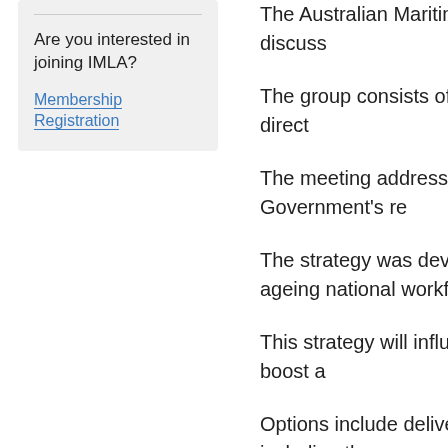Are you interested in joining IMLA?
Membership Registration
The Australian Maritime Colle on Friday, 17 May to discuss
The group consists of high-le staff with guidance and direct
The meeting addressed the c the Federal Government's re
The strategy was developed i seagoing workforce is ageing national workforce shortage.
This strategy will influence wh and training) funding boost a
Options include delivering se across Australia, including th
The meeting also discussed t Australian shipping fleet mee demand within the oil and go